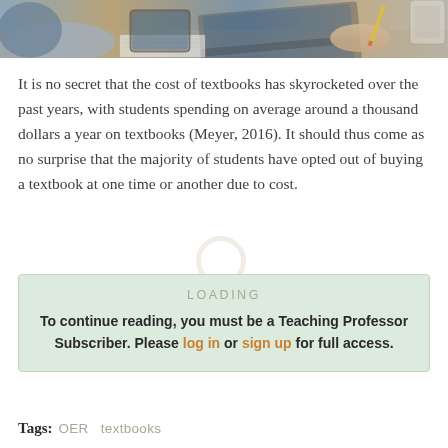[Figure (photo): Photo of people working at a desk with laptops, notebooks, and a pencil — a study/classroom scene viewed from above]
It is no secret that the cost of textbooks has skyrocketed over the past years, with students spending on average around a thousand dollars a year on textbooks (Meyer, 2016). It should thus come as no surprise that the majority of students have opted out of buying a textbook at one time or another due to cost.
LOADING
To continue reading, you must be a Teaching Professor Subscriber. Please log in or sign up for full access.
Tags:   OER   textbooks